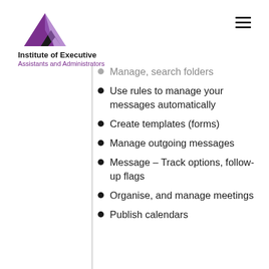Institute of Executive Assistants and Administrators
Manage, search folders
Use rules to manage your messages automatically
Create templates (forms)
Manage outgoing messages
Message – Track options, follow-up flags
Organise, and manage meetings
Publish calendars